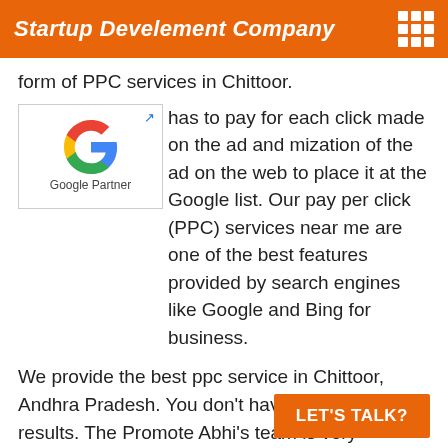Startup Develement Company
form of PPC services in Chittoor.
[Figure (logo): Google Partner badge with Google G logo and external link icon]
has to pay for each click made on the ad and mization of the ad on the web to place it at the Google list. Our pay per click (PPC) services near me are one of the best features provided by search engines like Google and Bing for business.
We provide the best ppc service in Chittoor, Andhra Pradesh. You don't have to wait long for results. The Promote Abhi's team is very experienced, highly motivated, knowledgeable with the latest updates, we are the best ppc services provider in India.
LET'S TALK?